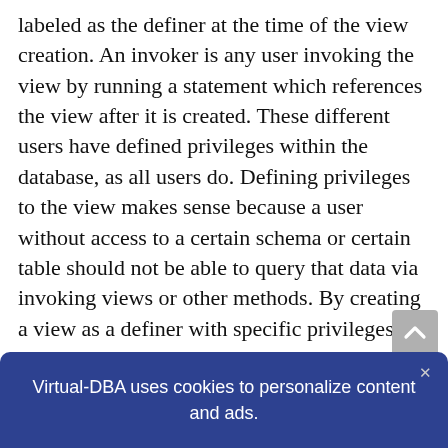labeled as the definer at the time of the view creation. An invoker is any user invoking the view by running a statement which references the view after it is created. These different users have defined privileges within the database, as all users do. Defining privileges to the view makes sense because a user without access to a certain schema or certain table should not be able to query that data via invoking views or other methods. By creating a view as a definer with specific privileges, only those with the minimum permissions of the definer are allowed to view the underlying
Virtual-DBA uses cookies to personalize content and ads.